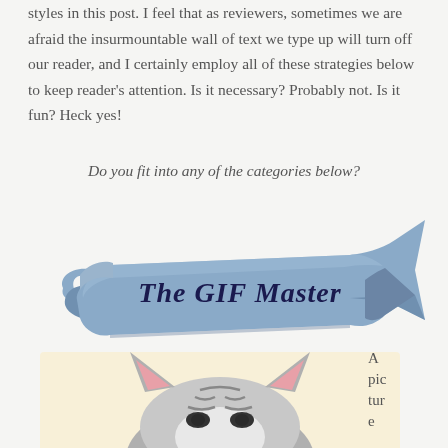styles in this post. I feel that as reviewers, sometimes we are afraid the insurmountable wall of text we type up will turn off our reader, and I certainly employ all of these strategies below to keep reader's attention. Is it necessary? Probably not. Is it fun? Heck yes!
Do you fit into any of the categories below?
[Figure (illustration): A decorative blue ribbon/banner illustration with the text 'The GIF Master' written in dark navy cursive handwriting. The banner has two tails curling at the left and a forked tail pointing right.]
[Figure (illustration): A cartoon/anime style illustration of a cat's head peeking up from the bottom, showing the top of the head with triangular ears (pink inside), gray and white fur with black stripes. The background is a soft yellow/cream gradient.]
A picture e